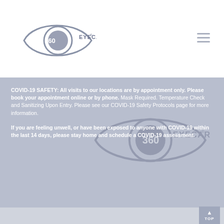[Figure (logo): 360 Eyecare logo — eye shape with '360EYECARE' text]
COVID-19 SAFETY: All visits to our locations are by appointment only. Please book your appointment online or by phone. Mask Required. Temperature Check and Sanitizing Upon Entry. Please see our COVID-19 Safety Protocols page for more information.
If you are feeling unwell, or have been exposed to anyone with COVID-19 within the last 14 days, please stay home and schedule a COVID-19 assessment.